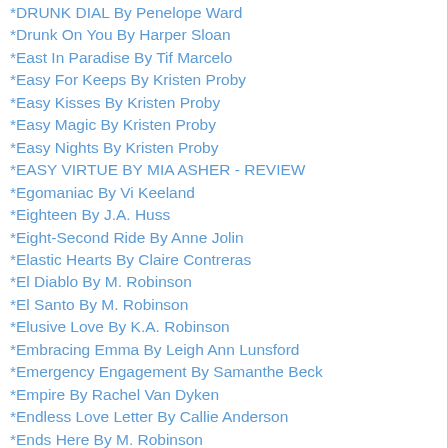*DRUNK DIAL By Penelope Ward
*Drunk On You By Harper Sloan
*East In Paradise By Tif Marcelo
*Easy For Keeps By Kristen Proby
*Easy Kisses By Kristen Proby
*Easy Magic By Kristen Proby
*Easy Nights By Kristen Proby
*EASY VIRTUE BY MIA ASHER - REVIEW
*Egomaniac By Vi Keeland
*Eighteen By J.A. Huss
*Eight-Second Ride By Anne Jolin
*Elastic Hearts By Claire Contreras
*El Diablo By M. Robinson
*El Santo By M. Robinson
*Elusive Love By K.A. Robinson
*Embracing Emma By Leigh Ann Lunsford
*Emergency Engagement By Samanthe Beck
*Empire By Rachel Van Dyken
*Endless Love Letter By Callie Anderson
*Ends Here By M. Robinson
*Engaging The Bachelor By Cathryn Fox
*ENTANGLED BY ALEX ROSA